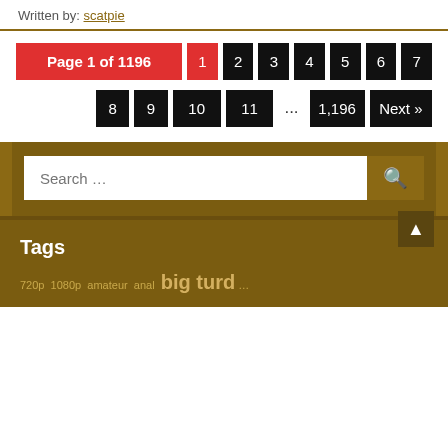Written by: scatpie
Page 1 of 1196  1  2  3  4  5  6  7  8  9  10  11  ...  1,196  Next »
Search ...
Tags
720p  1080p  amateur  anal  big turd ...